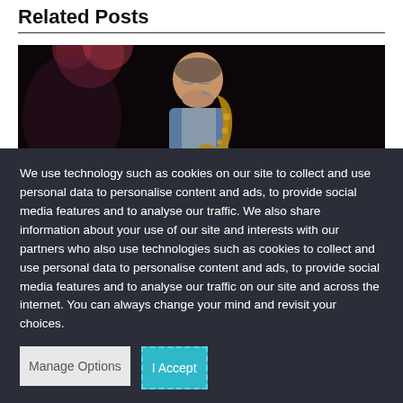Related Posts
[Figure (photo): A man playing saxophone on stage under purple/warm stage lighting, wearing glasses and a denim vest, dark background.]
We use technology such as cookies on our site to collect and use personal data to personalise content and ads, to provide social media features and to analyse our traffic. We also share information about your use of our site and interests with our partners who also use technologies such as cookies to collect and use personal data to personalise content and ads, to provide social media features and to analyse our traffic on our site and across the internet. You can always change your mind and revisit your choices.
Manage Options | I Accept